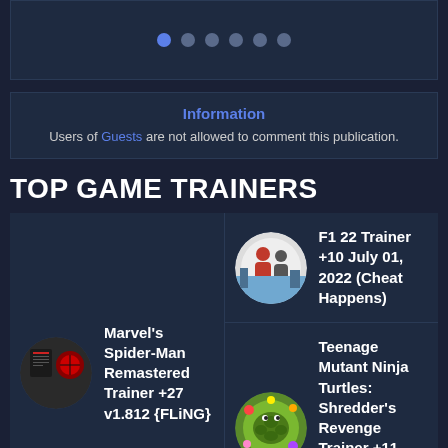[Figure (screenshot): Slider pagination dots — one blue active dot and five grey inactive dots]
Information
Users of Guests are not allowed to comment this publication.
TOP GAME TRAINERS
Marvel's Spider-Man Remastered Trainer +27 v1.812 {FLiNG}
F1 22 Trainer +10 July 01, 2022 (Cheat Happens)
Teenage Mutant Ninja Turtles: Shredder's Revenge Trainer +11 v1.0.0.145 (Cheat Happens)